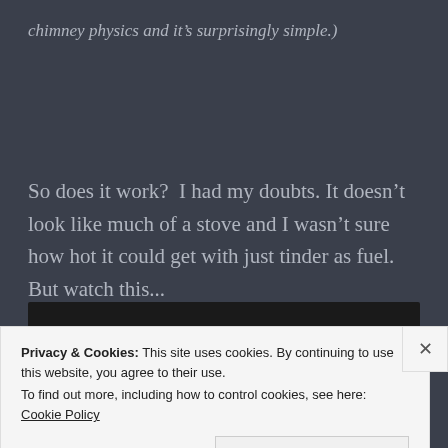chimney physics and it’s surprisingly simple.)
So does it work?  I had my doubts. It doesn’t look like much of a stove and I wasn’t sure how hot it could get with just tinder as fuel.  But watch this...
Privacy & Cookies: This site uses cookies. By continuing to use this website, you agree to their use.
To find out more, including how to control cookies, see here: Cookie Policy
Close and accept